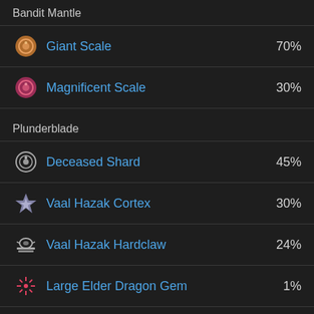Bandit Mantle
Giant Scale 70%
Magnificent Scale 30%
Plunderblade
Deceased Shard 45%
Vaal Hazak Cortex 30%
Vaal Hazak Hardclaw 24%
Large Elder Dragon Gem 1%
Items Gathered by Palicoes